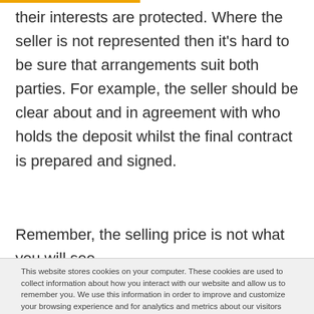their interests are protected. Where the seller is not represented then it's hard to be sure that arrangements suit both parties. For example, the seller should be clear about and in agreement with who holds the deposit whilst the final contract is prepared and signed.
Remember, the selling price is not what you will see
This website stores cookies on your computer. These cookies are used to collect information about how you interact with our website and allow us to remember you. We use this information in order to improve and customize your browsing experience and for analytics and metrics about our visitors both on this website and other media. To find out more about the cookies we use, see our Cookie Policy.
I accept